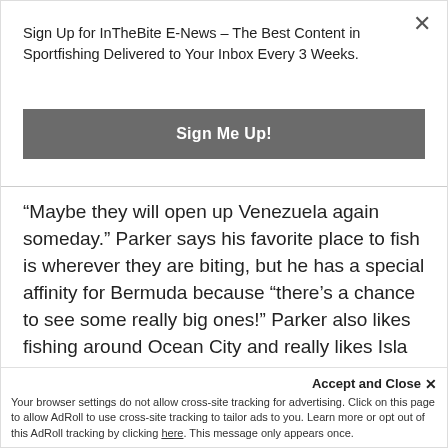Sign Up for InTheBite E-News – The Best Content in Sportfishing Delivered to Your Inbox Every 3 Weeks.
Sign Me Up!
“Maybe they will open up Venezuela again someday.” Parker says his favorite place to fish is wherever they are biting, but he has a special affinity for Bermuda because “there’s a chance to see some really big ones!” Parker also likes fishing around Ocean City and really likes Isla Mujeres, Mexico. “Isla’s a lot of fun for us…we are going back in mid-January for six weeks or so. I like a lot of other places too; my lis
Accept and Close ×
Your browser settings do not allow cross-site tracking for advertising. Click on this page to allow AdRoll to use cross-site tracking to tailor ads to you. Learn more or opt out of this AdRoll tracking by clicking here. This message only appears once.